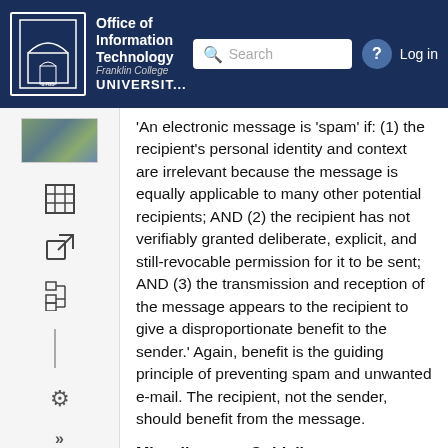Office of Information Technology — Franklin College — UNIVERSITY OF GEORGIA — Search — Log in
'An electronic message is 'spam' if: (1) the recipient's personal identity and context are irrelevant because the message is equally applicable to many other potential recipients; AND (2) the recipient has not verifiably granted deliberate, explicit, and still-revocable permission for it to be sent; AND (3) the transmission and reception of the message appears to the recipient to give a disproportionate benefit to the sender.' Again, benefit is the guiding principle of preventing spam and unwanted e-mail. The recipient, not the sender, should benefit from the message.
Miscellaneous Guidelines
Messages for personal or unit benefit (house for rent, puppies for sale, etc.) should not be sent as bulk e-mail. The uga-forsale listserv is probably the best choice for selling, renting or giving away personal property. This kind of